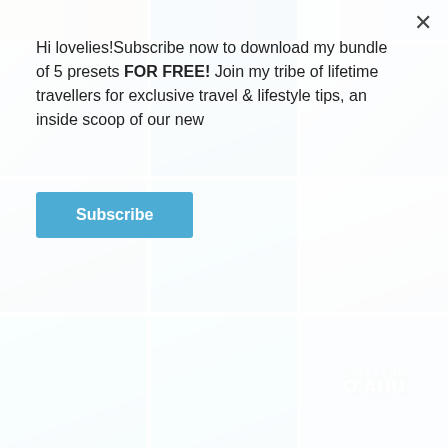[Figure (photo): Travel blog website screenshot showing a popup overlay with a subscribe message over a 3x3 grid of travel photos including pools, a church spire in Iceland, and an aerial view of O'ahu.]
Hi lovelies!Subscribe now to download my bundle of 5 presets FOR FREE! Join my tribe of lifetime travellers for exclusive travel & lifestyle tips, an inside scoop of our new
Subscribe